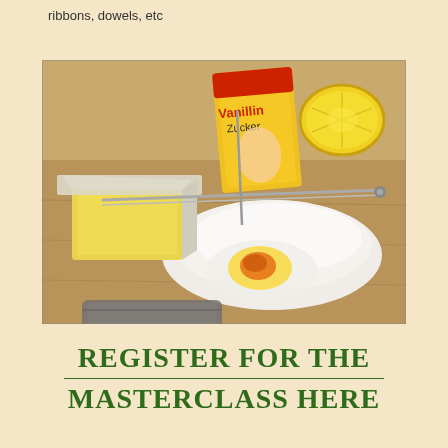ribbons, dowels, etc
[Figure (photo): Baking ingredients on a wooden surface: a block of butter in packaging, a packet of Vanillin Zucker (vanilla sugar), a halved lemon, flour pile with a cracked egg (yolk visible), a wire pastry cutter/cheese slicer tool, and a metal baking tin partially visible at the bottom.]
REGISTER FOR THE MASTERCLASS HERE